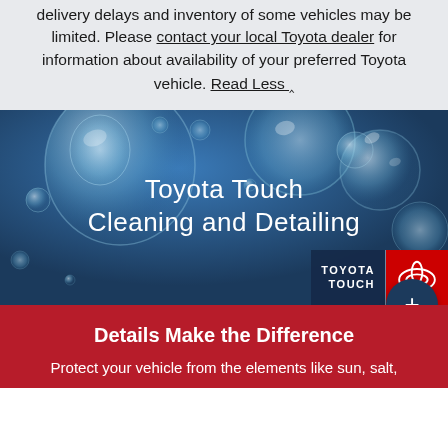delivery delays and inventory of some vehicles may be limited. Please contact your local Toyota dealer for information about availability of your preferred Toyota vehicle. Read Less ^
[Figure (photo): Blue background with water bubbles/droplets, showing Toyota Touch Cleaning and Detailing banner with Toyota Touch logo and Toyota logo in red box at bottom right]
Toyota Touch Cleaning and Detailing
Details Make the Difference
Protect your vehicle from the elements like sun, salt,